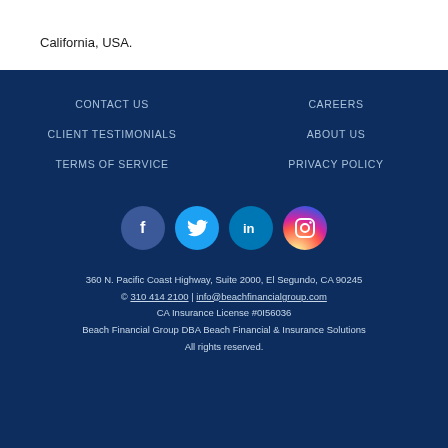such use of the Website is subject to the laws of California, USA.
CONTACT US
CAREERS
CLIENT TESTIMONIALS
ABOUT US
TERMS OF SERVICE
PRIVACY POLICY
[Figure (infographic): Social media icons: Facebook (blue circle with f), Twitter (light blue circle with bird), LinkedIn (blue circle with in), Instagram (gradient circle with camera icon)]
360 N. Pacific Coast Highway, Suite 2000, El Segundo, CA 90245
© 310 414 2100 | info@beachfinancialgroup.com
CA Insurance License #0I56036
Beach Financial Group DBA Beach Financial & Insurance Solutions
All rights reserved.